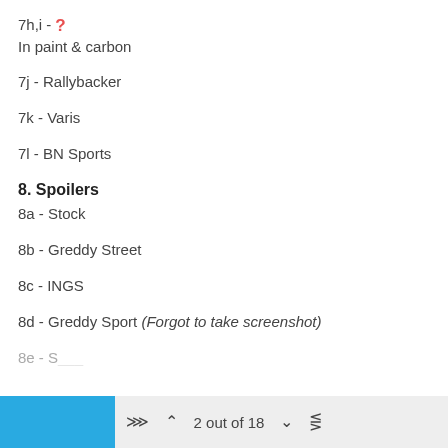7h,i - ? In paint & carbon
7j - Rallybacker
7k - Varis
7l - BN Sports
8. Spoilers
8a - Stock
8b - Greddy Street
8c - INGS
8d - Greddy Sport (Forgot to take screenshot)
2 out of 18